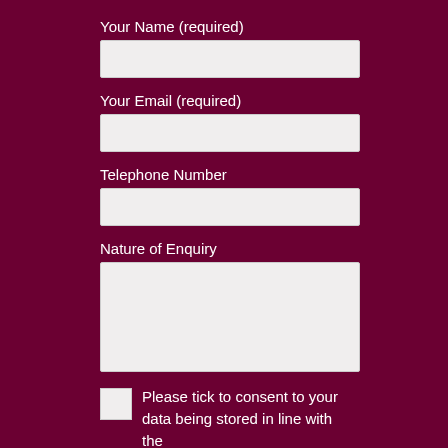Your Name (required)
Your Email (required)
Telephone Number
Nature of Enquiry
Please tick to consent to your data being stored in line with the